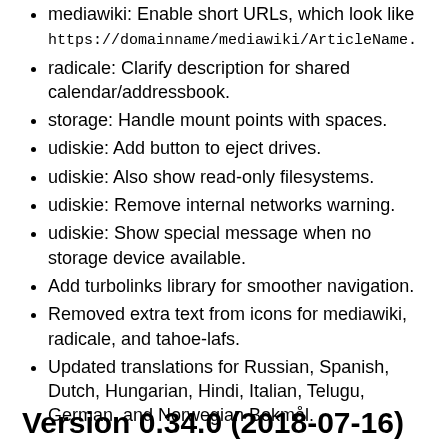mediawiki: Enable short URLs, which look like https://domainname/mediawiki/ArticleName.
radicale: Clarify description for shared calendar/addressbook.
storage: Handle mount points with spaces.
udiskie: Add button to eject drives.
udiskie: Also show read-only filesystems.
udiskie: Remove internal networks warning.
udiskie: Show special message when no storage device available.
Add turbolinks library for smoother navigation.
Removed extra text from icons for mediawiki, radicale, and tahoe-lafs.
Updated translations for Russian, Spanish, Dutch, Hungarian, Hindi, Italian, Telugu, German, and Norwegian Bokmål.
Version 0.34.0 (2018-07-16)